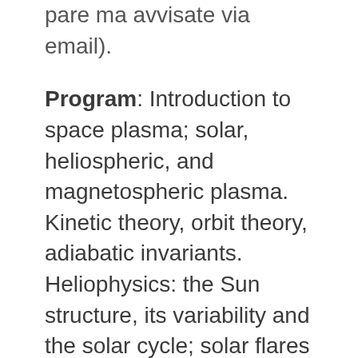pare ma avvisate via email).
Program: Introduction to space plasma; solar, heliospheric, and magnetospheric plasma. Kinetic theory, orbit theory, adiabatic invariants. Heliophysics: the Sun structure, its variability and the solar cycle; solar flares and coronal mass ejections; the heliosphere, the solar wind, the interplanetary magnetic field, the interstellar space. Turbulence, shocks, winds. Transport processes of energetic particles. Spatial diffusion, convection, adiabatic cooling, drift, diffusive shock acceleration. Solar modulation of galactic cosmic rays. Acceleration and transport of